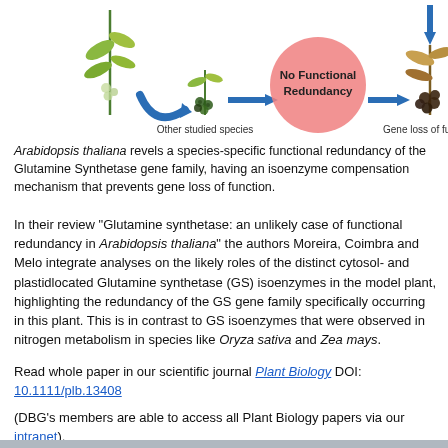[Figure (illustration): Scientific diagram showing plant biology concept. Left side shows 'Other studied species' with plant illustrations and blue arrows indicating gene pathway leading to 'No Functional Redundancy' (pink circle in center). Right side shows 'Gene loss of function' with a wilted/damaged plant illustration and blue downward arrow.]
Arabidopsis thaliana revels a species-specific functional redundancy of the Glutamine Synthetase gene family, having an isoenzyme compensation mechanism that prevents gene loss of function.
In their review "Glutamine synthetase: an unlikely case of functional redundancy in Arabidopsis thaliana" the authors Moreira, Coimbra and Melo integrate analyses on the likely roles of the distinct cytosol- and plastidlocated Glutamine synthetase (GS) isoenzymes in the model plant, highlighting the redundancy of the GS gene family specifically occurring in this plant. This is in contrast to GS isoenzymes that were observed in nitrogen metabolism in species like Oryza sativa and Zea mays.
Read whole paper in our scientific journal Plant Biology DOI: 10.1111/plb.13408
(DBG's members are able to access all Plant Biology papers via our intranet).